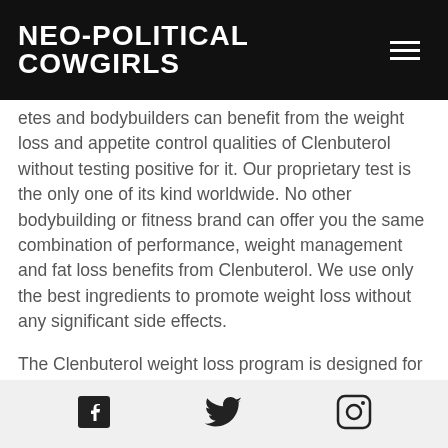NEO-POLITICAL COWGIRLS
etes and bodybuilders can benefit from the weight loss and appetite control qualities of Clenbuterol without testing positive for it. Our proprietary test is the only one of its kind worldwide. No other bodybuilding or fitness brand can offer you the same combination of performance, weight management and fat loss benefits from Clenbuterol. We use only the best ingredients to promote weight loss without any significant side effects.
The Clenbuterol weight loss program is designed for both men and women, from weightlifters weighing between 180 to 315 pounds to those between 70 to 160 pounds. Athletes and bodybuilders take Clenbuterol
Social icons: Facebook, Twitter, Instagram